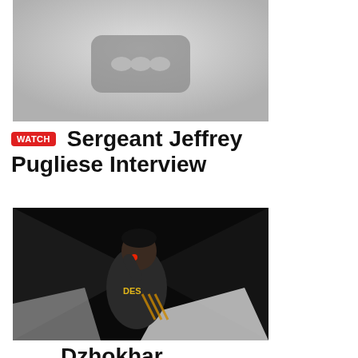[Figure (screenshot): YouTube video thumbnail placeholder — light gray background with a dark rounded rectangle containing three small rounded rectangles (YouTube logo placeholder)]
WATCH Sergeant Jeffrey Pugliese Interview
[Figure (photo): A dark nighttime photograph of a person (Dzhokhar Tsarnaev) crouching or hiding, illuminated by a reddish light, wearing a gray hoodie with yellow/gold text]
WATCH Dzhokhar Tsarnaev's